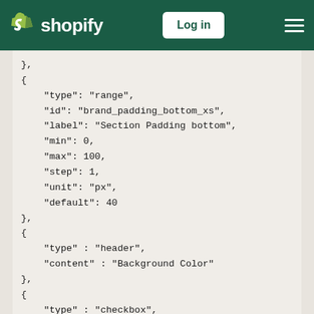Shopify - Log in
},
{
    "type": "range",
    "id": "brand_padding_bottom_xs",
    "label": "Section Padding bottom",
    "min": 0,
    "max": 100,
    "step": 1,
    "unit": "px",
    "default": 40
},
{
    "type" : "header",
    "content" : "Background Color"
},
{
    "type" : "checkbox",